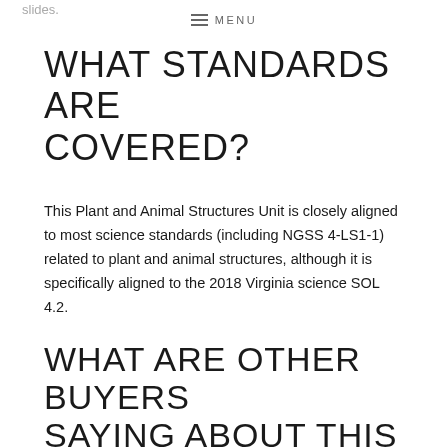slides.
≡ MENU
WHAT STANDARDS ARE COVERED?
This Plant and Animal Structures Unit is closely aligned to most science standards (including NGSS 4-LS1-1) related to plant and animal structures, although it is specifically aligned to the 2018 Virginia science SOL 4.2.
WHAT ARE OTHER BUYERS SAYING ABOUT THIS PLANT AND ANIMAL STRUCTURES